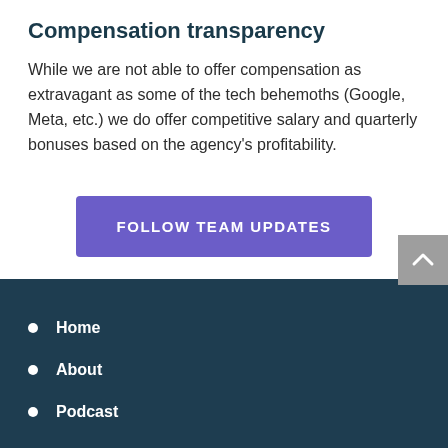Compensation transparency
While we are not able to offer compensation as extravagant as some of the tech behemoths (Google, Meta, etc.) we do offer competitive salary and quarterly bonuses based on the agency’s profitability.
FOLLOW TEAM UPDATES
Home
About
Podcast